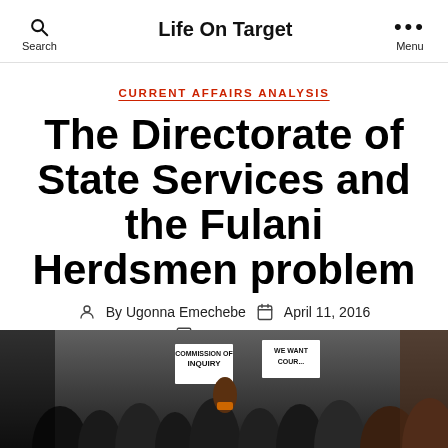Life On Target
CURRENT AFFAIRS ANALYSIS
The Directorate of State Services and the Fulani Herdsmen problem
By Ugonna Emechebe   April 11, 2016
1 Comment
[Figure (photo): Crowd of protesters holding signs reading COMMISSION OF INQUIRY and WE WANT COURAGE]